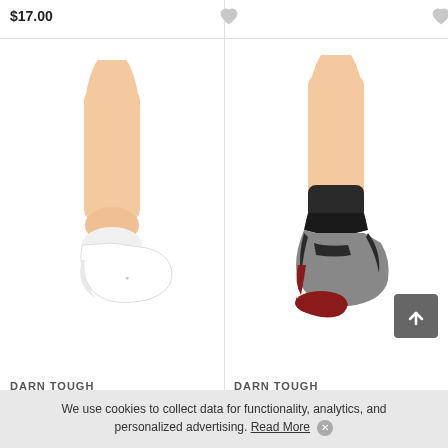$17.00
[Figure (photo): A foot/ankle wearing a white low-cut no-show sock on a white background]
[Figure (photo): A foot/ankle wearing a black and gray quarter-crew athletic sock with red toe cap on a white background]
DARN TOUGH
DARN TOUGH
We use cookies to collect data for functionality, analytics, and personalized advertising. Read More